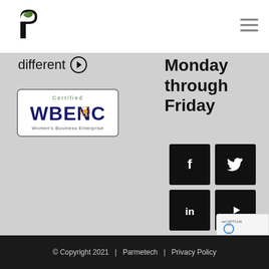[Figure (logo): Parmetech logo — stylized black P with green leaf]
[Figure (other): Hamburger menu icon (three horizontal lines)]
different →
[Figure (logo): Certified WBENC Women's Business Enterprise badge]
Monday through Friday
[Figure (other): Social media icons grid: Facebook, Twitter, LinkedIn, YouTube]
[Figure (other): reCAPTCHA widget partial]
© Copyright 2021 | Parmetech | Privacy Policy